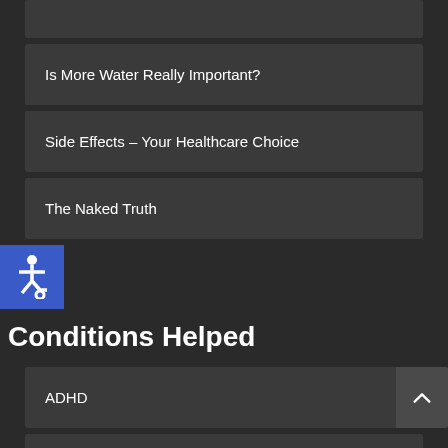Is More Water Really Important?
Side Effects – Your Healthcare Choice
The Naked Truth
[Figure (illustration): Accessibility wheelchair icon in blue square]
Conditions Helped
ADHD
Allergies
Asthma